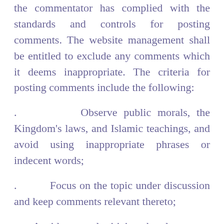the commentator has complied with the standards and controls for posting comments. The website management shall be entitled to exclude any comments which it deems inappropriate. The criteria for posting comments include the following:
. Observe public morals, the Kingdom's laws, and Islamic teachings, and avoid using inappropriate phrases or indecent words;
. Focus on the topic under discussion and keep comments relevant thereto;
. Avoid personal criticism that does